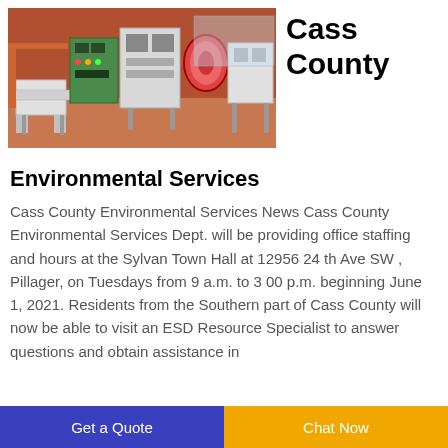[Figure (photo): Industrial recycling machinery with orange and white equipment in a warehouse setting]
Cass County
Environmental Services
Cass County Environmental Services News Cass County Environmental Services Dept. will be providing office staffing and hours at the Sylvan Town Hall at 12956 24 th Ave SW , Pillager, on Tuesdays from 9 a.m. to 3 00 p.m. beginning June 1, 2021. Residents from the Southern part of Cass County will now be able to visit an ESD Resource Specialist to answer questions and obtain assistance in
Get a Quote
Chat Now